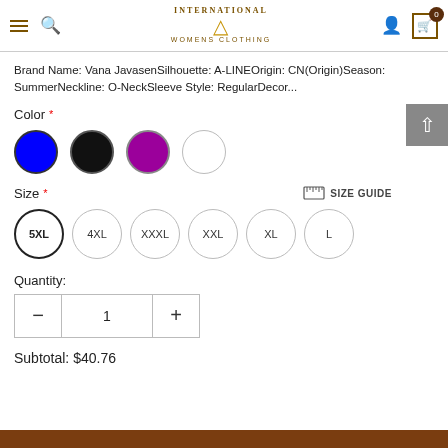International Womens Clothing — navigation header with hamburger, search, logo, user icon, cart (0)
Brand Name: Vana JavasenSilhouette: A-LINEOrigin: CN(Origin)Season: SummerNeckline: O-NeckSleeve Style: RegularDecor...
Color *
Size *
SIZE GUIDE
5XL
4XL
XXXL
XXL
XL
L
Quantity:
Subtotal: $40.76